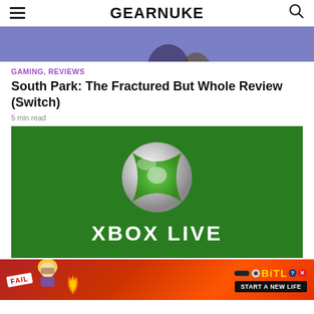GEARNUKE
[Figure (photo): Partial view of a South Park character image with purple/blue background, cropped at top]
GAMING, REVIEWS
South Park: The Fractured But Whole Review (Switch)
5 min read
[Figure (logo): Xbox Live logo on green background — white/green Xbox sphere logo above white text reading XBOX LIVE]
[Figure (photo): BitLife advertisement banner with red/orange background, FAIL badge, cartoon character, flames, and START A NEW LIFE button]